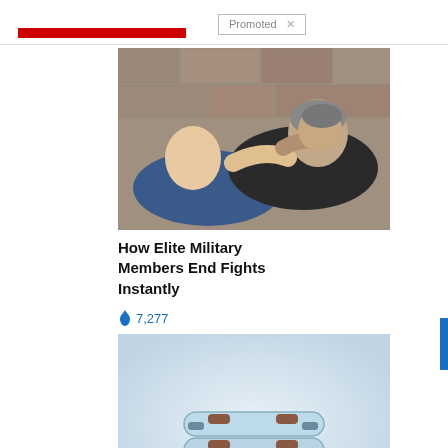Promoted ×
[Figure (photo): Two men fighting — one grabbing the other by the throat in a self-defense scenario against a stone wall background]
How Elite Military Members End Fights Instantly
🔥 7,277
[Figure (photo): Stacked light blue ring-shaped wearable device (Eddie) product photo on a light background]
Treat ED With Eddie — The Proven, Comfortable Wearable That Comes With A Satisfaction Guarantee
🔥 165,959